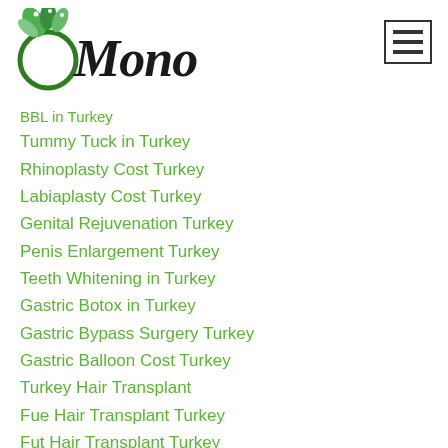[Figure (logo): Mono medical tourism logo with green leaf and cursive Mono text]
BBL in Turkey
Tummy Tuck in Turkey
Rhinoplasty Cost Turkey
Labiaplasty Cost Turkey
Genital Rejuvenation Turkey
Penis Enlargement Turkey
Teeth Whitening in Turkey
Gastric Botox in Turkey
Gastric Bypass Surgery Turkey
Gastric Balloon Cost Turkey
Turkey Hair Transplant
Fue Hair Transplant Turkey
Fut Hair Transplant Turkey